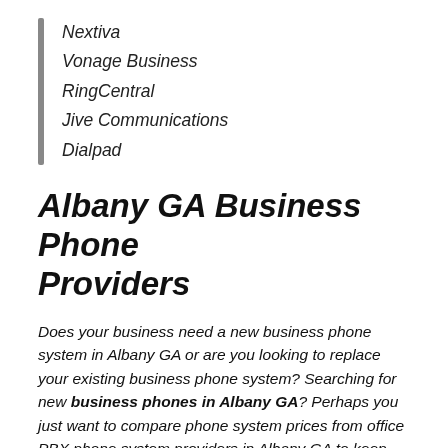Nextiva
Vonage Business
RingCentral
Jive Communications
Dialpad
Albany GA Business Phone Providers
Does your business need a new business phone system in Albany GA or are you looking to replace your existing business phone system? Searching for new business phones in Albany GA? Perhaps you just want to compare phone system prices from office PBX phone system providers in Albany GA to keep your current provider honest. Whatever the reason, our service is quick and easy and we can help. Just take a minute to answer a few quick office